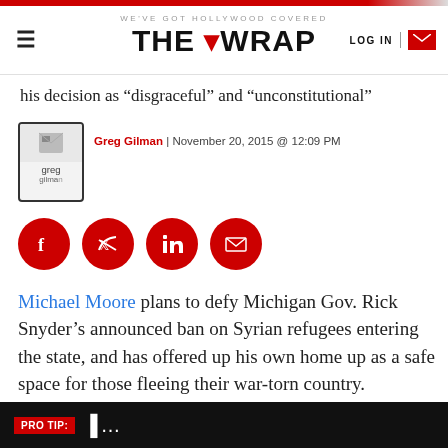WE'VE GOT HOLLYWOOD COVERED — THE WRAP — LOG IN
his decision as “disgraceful” and “unconstitutional”
Greg Gilman | November 20, 2015 @ 12:09 PM
[Figure (infographic): Social sharing icons: Facebook, Twitter, LinkedIn, Email — red circles]
Michael Moore plans to defy Michigan Gov. Rick Snyder’s announced ban on Syrian refugees entering the state, and has offered up his own home up as a safe space for those fleeing their war-torn country.
The Oscar-winning documentary director’s announcement comes in the form of an open letter, in
PRO TIP: